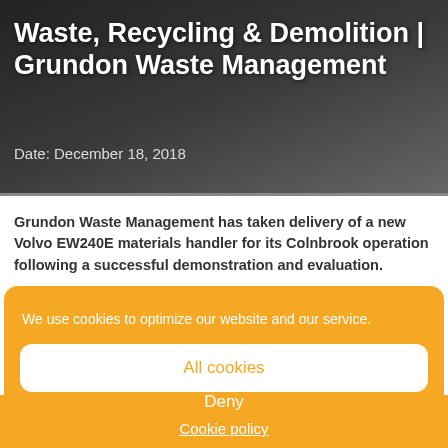Waste, Recycling & Demolition | Grundon Waste Management
Date: December 18, 2018
Grundon Waste Management has taken delivery of a new Volvo EW240E materials handler for its Colnbrook operation following a successful demonstration and evaluation.
We use cookies to optimize our website and our service.
All cookies
Deny
Cookie policy